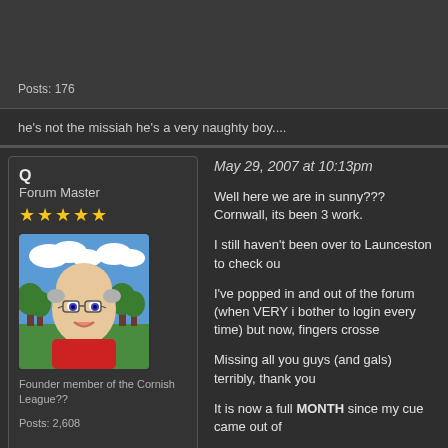Posts: 176
he's not the missiah he's a very naughty boy....
Q
Forum Master
★★★★★
[Figure (illustration): Cartoon avatar of a bald man with glasses wearing a red shirt, set against a blue sky and green trees background]
Founder member of the Cornish League??
Posts: 2,608
May 29, 2007 at 10:13pm
Well here we are in sunny??? Cornwall, its been 3 work.
I still haven't been over to Launceston to check ou
I've popped in and out of the forum (when VERY i bother to login every time) but now, fingers crosse
Missing all you guys (and gals) terribly, thank you
It is now a full MONTH since my cue came out of
Lastly, to save me Pm'ing him....... Sav, how do I r
See you all again one day
Bernie